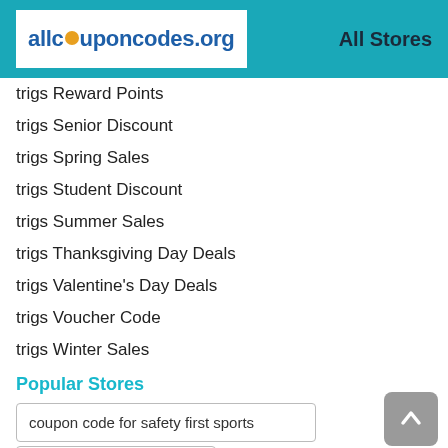[Figure (logo): allcouponcodes.org logo with orange dot replacing the 'o' in 'coupon']
All Stores
trigs Reward Points
trigs Senior Discount
trigs Spring Sales
trigs Student Discount
trigs Summer Sales
trigs Thanksgiving Day Deals
trigs Valentine's Day Deals
trigs Voucher Code
trigs Winter Sales
Popular Stores
coupon code for safety first sports
tulster coupon code
fort brands coupons